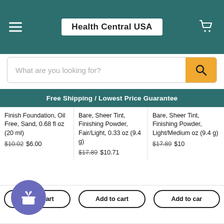Health Central USA
What are you looking for?
Free Shipping / Lowest Price Guarantee
Finish Foundation, Oil Free, Sand, 0.68 fl oz (20 ml)
$10.02   $6.00
Bare, Sheer Tint, Finishing Powder, Fair/Light, 0.33 oz (9.4 g)
$17.89   $10.71
Bare, Sheer Tint, Finishing Powder, Light/Medium oz (9.4 g)
$17.89   $10
Add to cart
Add to cart
Add to cart